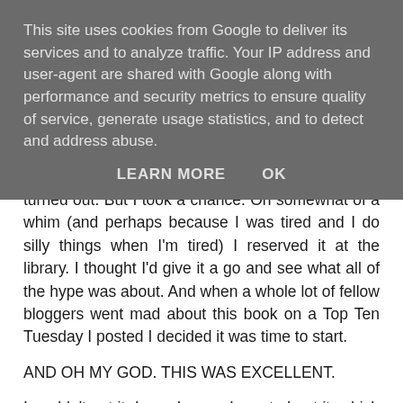This site uses cookies from Google to deliver its services and to analyze traffic. Your IP address and user-agent are shared with Google along with performance and security metrics to ensure quality of service, generate usage statistics, and to detect and address abuse.
LEARN MORE   OK
turned out. But I took a chance. On somewhat of a whim (and perhaps because I was tired and I do silly things when I'm tired) I reserved it at the library. I thought I'd give it a go and see what all of the hype was about. And when a whole lot of fellow bloggers went mad about this book on a Top Ten Tuesday I posted I decided it was time to start.
AND OH MY GOD. THIS WAS EXCELLENT.
I couldn't put it down. I even dreamt about it, which was pretty freaky. And now I'm shipping Rose and Dimitri so hard. And I don't ship. Not since years ago when I madly read HP fanfics.
This is the last sentence visible at the bottom.